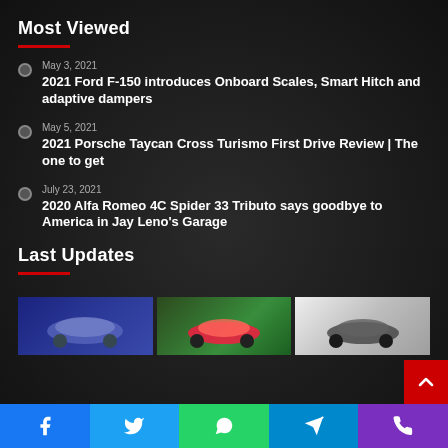Most Viewed
May 3, 2021 — 2021 Ford F-150 introduces Onboard Scales, Smart Hitch and adaptive dampers
May 5, 2021 — 2021 Porsche Taycan Cross Turismo First Drive Review | The one to get
July 23, 2021 — 2020 Alfa Romeo 4C Spider 33 Tributo says goodbye to America in Jay Leno's Garage
Last Updates
[Figure (photo): Thumbnail of a futuristic car on dark blue background]
[Figure (photo): Thumbnail of a red sports car on green background]
[Figure (photo): Thumbnail of a dark car on light grey background]